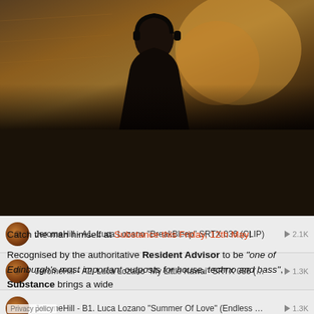[Figure (screenshot): SoundCloud embedded player widget showing a DJ silhouette photo, orange Play on SoundCloud button, 222 tracks count, Listen in browser link, and a list of track items by JeromeHill featuring Luca Lozano tracks with play counts]
Catch the man himself at Substance this Friday, 12th May!
Recognised by the authoritative Resident Advisor to be "one of Edinburgh's most important outposts for house, techno and bass", Substance brings a wide